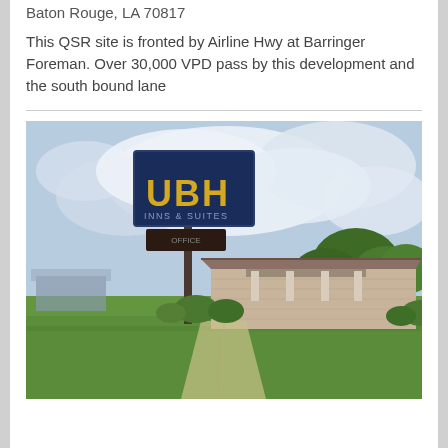Baton Rouge, LA 70817
This QSR site is fronted by Airline Hwy at Barringer Foreman. Over 30,000 VPD pass by this development and the south bound lane
[Figure (photo): Exterior photo of a UBH hotel/motel property with a tall pole sign displaying 'UBH' in yellow letters on a dark blue background, set against a partly cloudy sky. A brick building with a covered entrance/portico is visible to the right, surrounded by green grass and landscaping.]